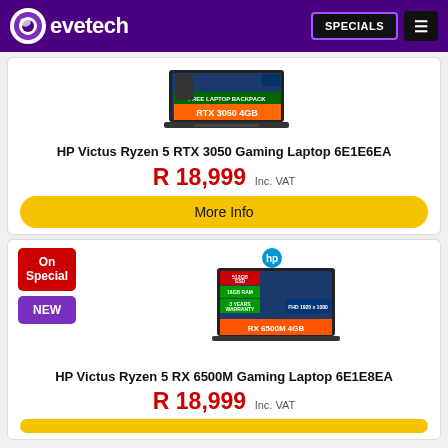evetech — SPECIALS
[Figure (screenshot): HP Victus RTX 3050 4GB laptop product image with FREE LAPTOP BACKPACK banner]
HP Victus Ryzen 5 RTX 3050 Gaming Laptop 6E1E6EA
R 18,999 Inc. VAT
More Info
[Figure (screenshot): HP Victus RX 6500M 4GB laptop product image with 512GB SSD, 16GB RAM, 3 YEARS WARRANTY, FHD 1920x1080 specs and FREE LAPTOP BACKPACK banner]
HP Victus Ryzen 5 RX 6500M Gaming Laptop 6E1E8EA
R 18,999 Inc. VAT